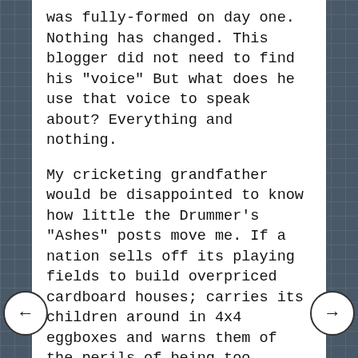was fully-formed on day one. Nothing has changed. This blogger did not need to find his "voice" But what does he use that voice to speak about? Everything and nothing.
My cricketing grandfather would be disappointed to know how little the Drummer's "Ashes" posts move me. If a nation sells off its playing fields to build overpriced cardboard houses; carries its children around in 4x4 eggboxes and warns them of the perils of being too competitive, can it really expect to defeat honest sporting nations? It's hard to see why such an intellectual would give a damn. Nonetheless, there is a lot of cricket at the Drummer's blog. Fortunately, there are also politics, music, culture, history and (unfashionably) religion.
Most to my taste is the literary stuff. The